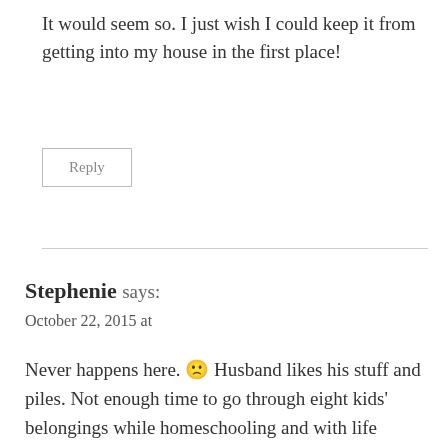It would seem so. I just wish I could keep it from getting into my house in the first place!
Reply
Stephenie says:
October 22, 2015 at
Never happens here. 🙁 Husband likes his stuff and piles. Not enough time to go through eight kids' belongings while homeschooling and with life happening. I admire you. I would love to do this, but I guess it will just have to wait until the kids are grown, but even then, who knows.